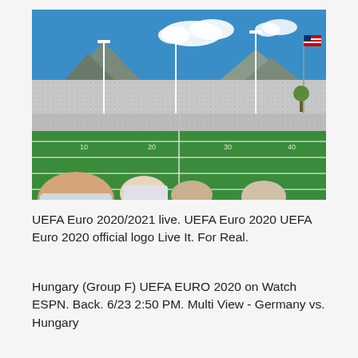[Figure (photo): A packed stadium with a green football field in the foreground, crowds of fans wearing white in the stands, mountains and blue sky with white clouds visible in the background, and an American flag on a pole to the right. Several people's heads are visible in the foreground.]
UEFA Euro 2020/2021 live. UEFA Euro 2020 UEFA Euro 2020 official logo Live It. For Real.
Hungary (Group F) UEFA EURO 2020 on Watch ESPN. Back. 6/23 2:50 PM. Multi View - Germany vs. Hungary (Group F).